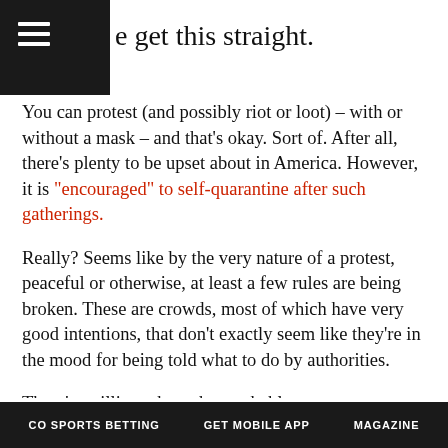e get this straight.
You can protest (and possibly riot or loot) – with or without a mask – and that's okay. Sort of. After all, there's plenty to be upset about in America. However, it is "encouraged" to self-quarantine after such gatherings.
Really? Seems like by the very nature of a protest, peaceful or otherwise, at least a few rules are being broken. These are crowds, most of which have very good intentions, that don't exactly seem like they're in the mood for being told what to do by authorities.
There's a silliness here that probably warrants more commentary, but not in this space.
But here's something very serious.
CO SPORTS BETTING    GET MOBILE APP    MAGAZINE